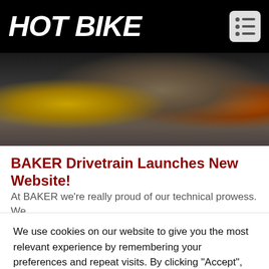HOT BIKE
[Figure (screenshot): Blurred hero image of motorcycle-related content with dark background, yellow, brown, and orange colored elements]
BAKER Drivetrain Launches New Website!
At BAKER we're really proud of our technical prowess. We
We use cookies on our website to give you the most relevant experience by remembering your preferences and repeat visits. By clicking “Accept”, you consent to the use of ALL the cookies.
Do not sell my personal information.